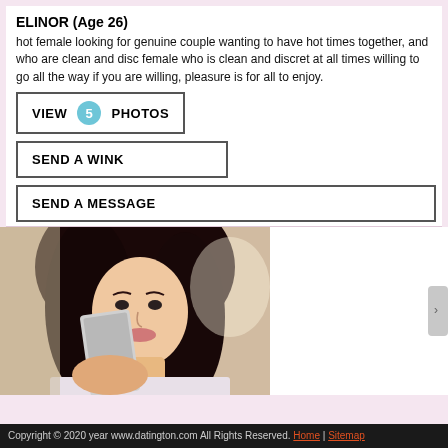ELINOR (Age 26)
hot female looking for genuine couple wanting to have hot times together, and who are clean and disc female who is clean and discret at all times willing to go all the way if you are willing, pleasure is for all to enjoy.
VIEW 5 PHOTOS
SEND A WINK
SEND A MESSAGE
[Figure (photo): Selfie photo of a young woman with long dark curly hair holding a smartphone in a mirror selfie]
Copyright © 2020 year www.datington.com All Rights Reserved. Home | Sitemap